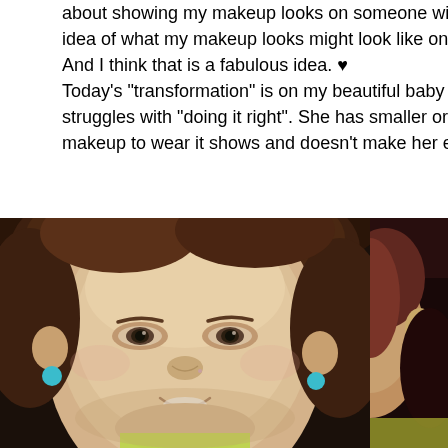about showing my makeup looks on someone with different characteristics to give you a better idea of what my makeup looks might look like on you or someone you know. And I think that is a fabulous idea. ♥ Today's "transformation" is on my beautiful baby sister Samantha who struggles with "doing it right". She has smaller or maybe shorter eyes and when she has makeup to wear it shows and doesn't make her eyes look sma
[Figure (photo): Two side-by-side photos of a young woman. The main photo on the left shows a close-up of a young woman with brown hair pulled back, wearing blue stud earrings, smiling at the camera with natural makeup. The partial photo on the right shows another image of a person with darker background.]